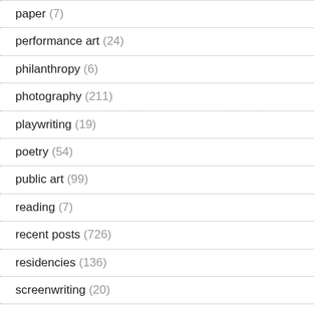paper (7)
performance art (24)
philanthropy (6)
photography (211)
playwriting (19)
poetry (54)
public art (99)
reading (7)
recent posts (726)
residencies (136)
screenwriting (20)